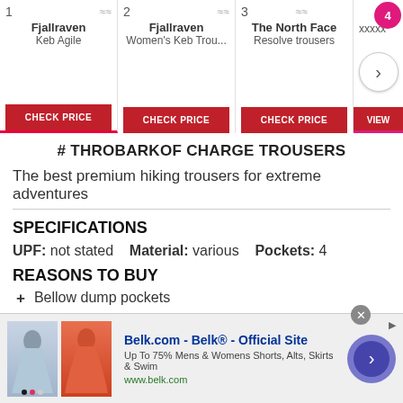1 Fjallraven Keb Agile | 2 Fjallraven Women's Keb Trou... | 3 The North Face Resolve trousers | 4 xxxxx
# THROBARKOF CHARGE TROUSERS
The best premium hiking trousers for extreme adventures
SPECIFICATIONS
UPF: not stated    Material: various    Pockets: 4
REASONS TO BUY
+ Bellow dump pockets
+ Reinforced knee panels
+ 4-way stretch around the top section
REASONS TO AVOID
Belk.com - Belk® - Official Site
Up To 75% Mens & Womens Shorts, Alts, Skirts & Swim
www.belk.com